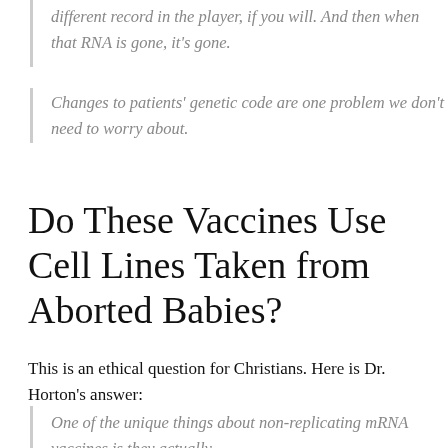different record in the player, if you will. And then when that RNA is gone, it's gone.
Changes to patients' genetic code are one problem we don't need to worry about.
Do These Vaccines Use Cell Lines Taken from Aborted Babies?
This is an ethical question for Christians. Here is Dr. Horton's answer:
One of the unique things about non-replicating mRNA vaccines is they actually